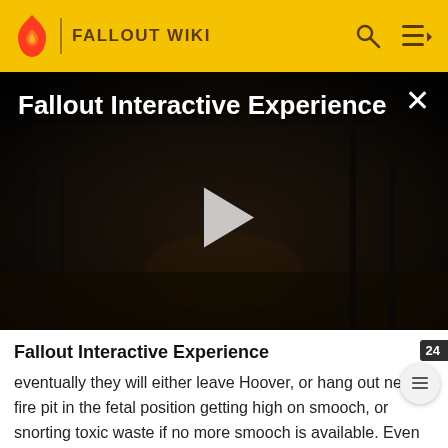FALLOUT WIKI
[Figure (screenshot): Video player showing dark post-apocalyptic scene with title 'Fallout Interactive Experience' and a play button in the center. An X close button appears in the top right corner.]
Fallout Interactive Experience
eventually they will either leave Hoover, or hang out near a fire pit in the fetal position getting high on smooch, or snorting toxic waste if no more smooch is available. Even Governor Dodge and his troops will